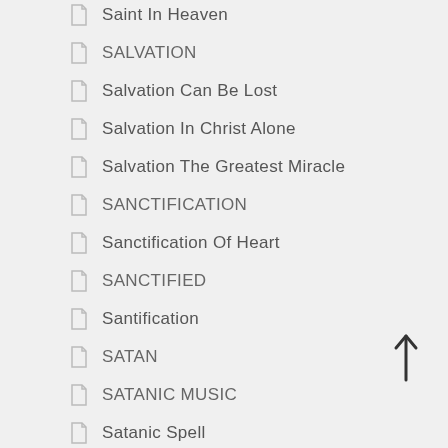Saint In Heaven
SALVATION
Salvation Can Be Lost
Salvation In Christ Alone
Salvation The Greatest Miracle
SANCTIFICATION
Sanctification Of Heart
SANCTIFIED
Santification
SATAN
SATANIC MUSIC
Satanic Spell
SATANIC STRATEGIES
Satanic Strategies To Stop HOREMOW
Satanic ...